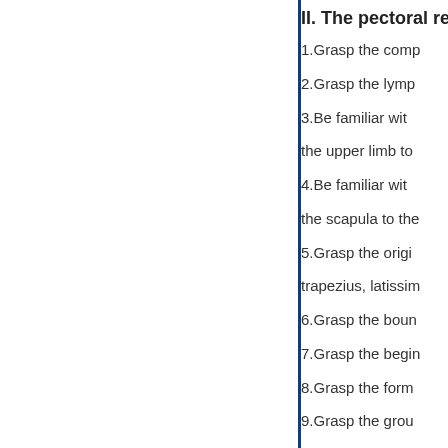II. The pectoral regi
1.Grasp the comp
2.Grasp the lymp
3.Be familiar wit the upper limb to
4.Be familiar wit the scapula to the
5.Grasp the origi trapezius, latissim
6.Grasp the boun
7.Grasp the begin
8.Grasp the form
9.Grasp the grou